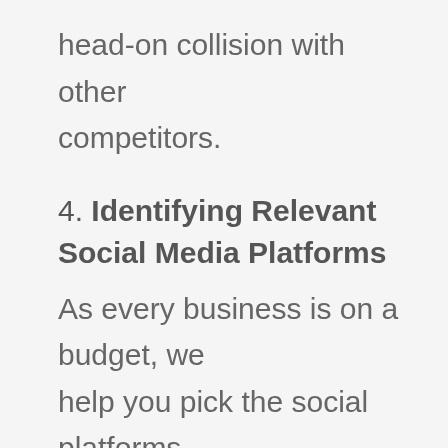head-on collision with other competitors.
4. Identifying Relevant Social Media Platforms
As every business is on a budget, we help you pick the social platforms that make “ROI sense” for your business, for your target audience, and for the sales pitch that you’re making. There’s no need to waste resources by being active on hundreds of social sites if your